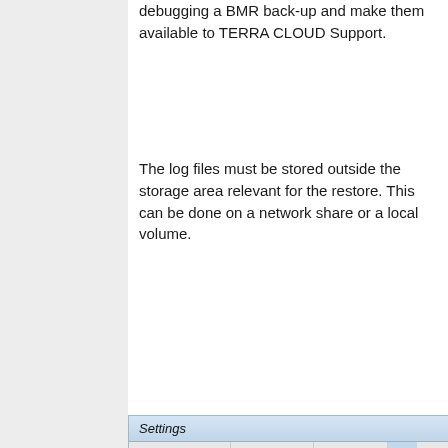debugging a BMR back-up and make them available to TERRA CLOUD Support.
The log files must be stored outside the storage area relevant for the restore. This can be done on a network share or a local volume.
[Figure (screenshot): Settings dialog showing tabs: Network Settings, Disk Settings, All Devices, Lo[g...]. Log Level dropdown with DEBUG selected (highlighted blue), LOG WARNING, LOG ERROR, DISABLE LOGGING. Maximum Log Size (MB) field showing 100, Range (1 - ?). Log File Location section with Local Disk and Network Share radio buttons.]